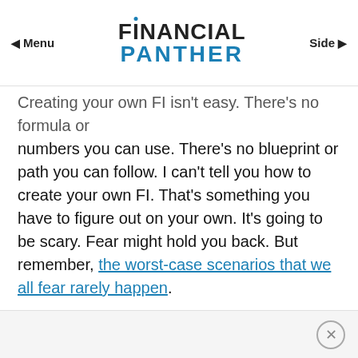Menu | Financial Panther | Side
Creating your own FI isn't easy. There's no formula or numbers you can use. There's no blueprint or path you can follow. I can't tell you how to create your own FI. That's something you have to figure out on your own. It's going to be scary. Fear might hold you back. But remember, the worst-case scenarios that we all fear rarely happen.